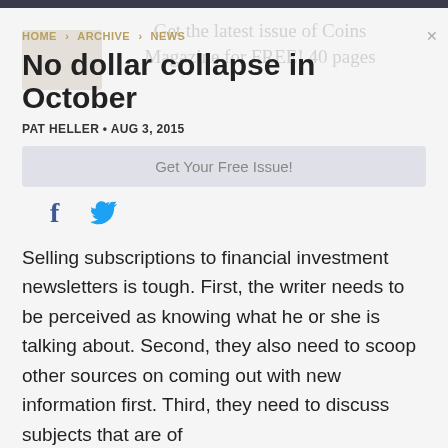HOME > ARCHIVE > NEWS
No dollar collapse in October
PAT HELLER • AUG 3, 2015
Selling subscriptions to financial investment newsletters is tough. First, the writer needs to be perceived as knowing what he or she is talking about. Second, they also need to scoop other sources on coming out with new information first. Third, they need to discuss subjects that are of